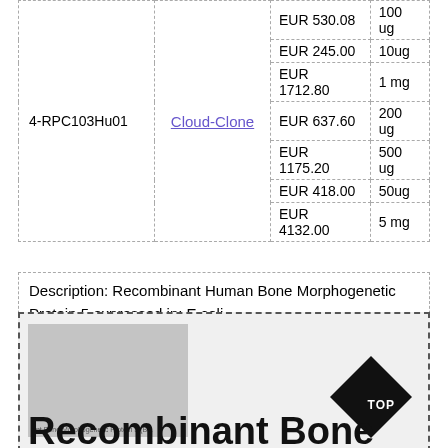| ID | Vendor | Price | Quantity |
| --- | --- | --- | --- |
| 4-RPC103Hu01 | Cloud-Clone | EUR 530.08 | 100 ug |
|  |  | EUR 245.00 | 10ug |
|  |  | EUR 1712.80 | 1 mg |
|  |  | EUR 637.60 | 200 ug |
|  |  | EUR 1175.20 | 500 ug |
|  |  | EUR 418.00 | 50ug |
|  |  | EUR 4132.00 | 5 mg |
Description: Recombinant Human Bone Morphogenetic Protein 5 expressed in: E.coli
[Figure (photo): Product image placeholder for Recombinant Human Bone Morphogenetic Protein 5 (BMP5) with TOP badge and title 'Recombinant Bone']